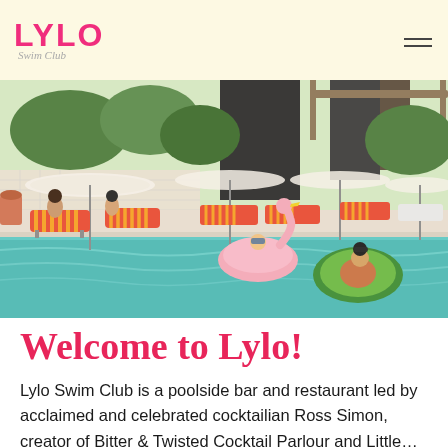LYLO Swim Club
[Figure (photo): Outdoor pool scene with people floating on inflatable flamingo and avocado pool floats, orange-striped lounge chairs, white market umbrellas, and modern building in background]
Welcome to Lylo!
Lylo Swim Club is a poolside bar and restaurant led by acclaimed and celebrated cocktailian Ross Simon, creator of Bitter & Twisted Cocktail Parlour and Little…